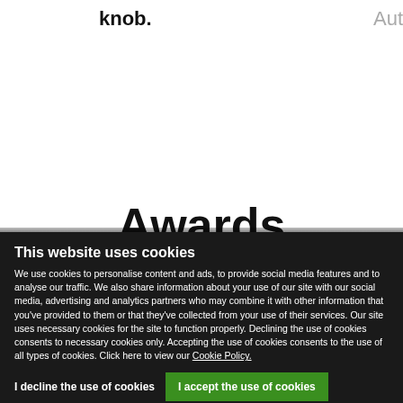knob.
Aut
Awards
This website uses cookies
We use cookies to personalise content and ads, to provide social media features and to analyse our traffic. We also share information about your use of our site with our social media, advertising and analytics partners who may combine it with other information that you've provided to them or that they've collected from your use of their services. Our site uses necessary cookies for the site to function properly. Declining the use of cookies consents to necessary cookies only. Accepting the use of cookies consents to the use of all types of cookies. Click here to view our Cookie Policy.
I decline the use of cookies
I accept the use of cookies
Show details